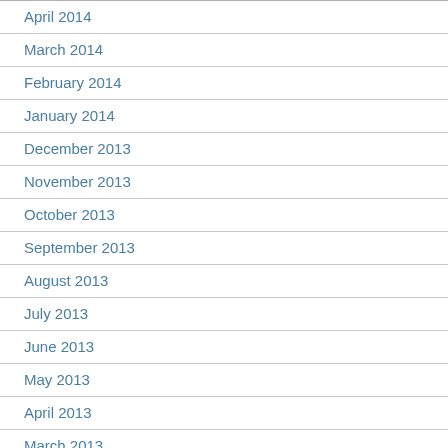April 2014
March 2014
February 2014
January 2014
December 2013
November 2013
October 2013
September 2013
August 2013
July 2013
June 2013
May 2013
April 2013
March 2013
February 2013